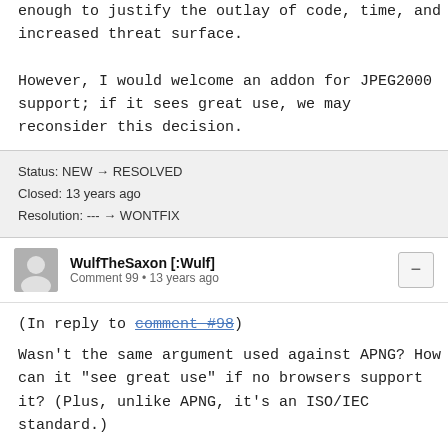JPEG2000 is simply not used enough or important enough to justify the outlay of code, time, and increased threat surface.

However, I would welcome an addon for JPEG2000 support; if it sees great use, we may reconsider this decision.
Status: NEW → RESOLVED
Closed: 13 years ago
Resolution: --- → WONTFIX
WulfTheSaxon [:Wulf]
Comment 99 • 13 years ago
(In reply to comment #98)

Wasn't the same argument used against APNG? How can it "see great use" if no browsers support it? (Plus, unlike APNG, it's an ISO/IEC standard.)